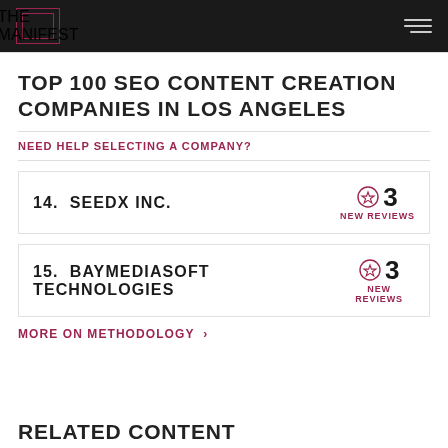THE MANIFEST
TOP 100 SEO CONTENT CREATION COMPANIES IN LOS ANGELES
NEED HELP SELECTING A COMPANY?
14.  SEEDX INC.  ☆ 3 NEW REVIEWS
15.  BAYMEDIASOFT TECHNOLOGIES  ☆ 3 NEW REVIEWS
MORE ON METHODOLOGY >
RELATED CONTENT